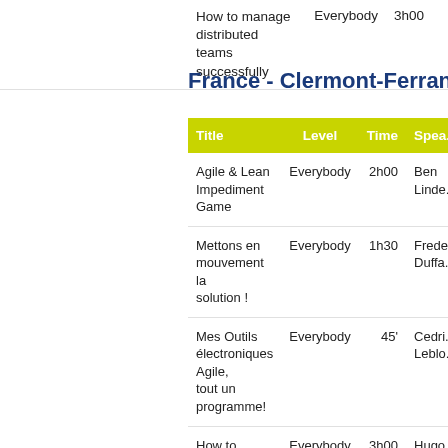| Title | Level | Time | Speaker |
| --- | --- | --- | --- |
| How to manage distributed teams successfully | Everybody | 3h00 |  |
| Agile & Lean Impediment Game | Everybody | 2h00 | Ben Linde... |
| Mettons en mouvement la solution ! | Everybody | 1h30 | Frede... Duffa... |
| Mes Outils électroniques Agile, tout un programme! | Everybody | 45' | Cedri... Leblo... |
| How to manage distributed teams successfully | Everybody | 3h00 | Hugo Mess... |
| How to manage... |  |  |  |
France - Clermont-Ferrand
| Title | Level | Time | Speaker |
| --- | --- | --- | --- |
| Agile & Lean Impediment Game | Everybody | 2h00 | Ben Linde... |
| Mettons en mouvement la solution ! | Everybody | 1h30 | Frede... Duffa... |
| Mes Outils électroniques Agile, tout un programme! | Everybody | 45' | Cedri... Leblo... |
| How to manage distributed teams successfully | Everybody | 3h00 | Hugo Mess... |
| How to manage... |  |  |  |